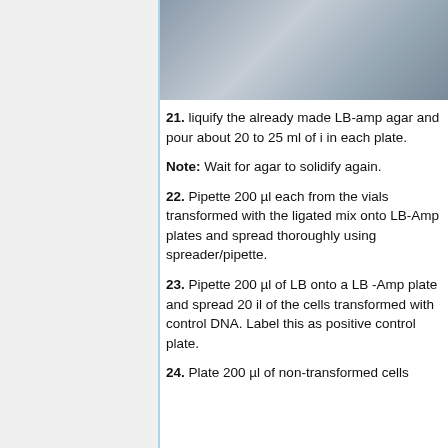[Figure (photo): Overhead photo of laboratory trays or containers, possibly petri plates or agar molds, viewed from above on a bench surface.]
21. liquify the already made LB-amp agar and pour about 20 to 25 ml of i in each plate.
Note: Wait for agar to solidify again.
22. Pipette 200 µl each from the vials transformed with the ligated mix onto LB-Amp plates and spread thoroughly using spreader/pipette.
23. Pipette 200 µl of LB onto a LB -Amp plate and spread 20 il of the cells transformed with control DNA. Label this as positive control plate.
24. Plate 200 µl of non-transformed cells